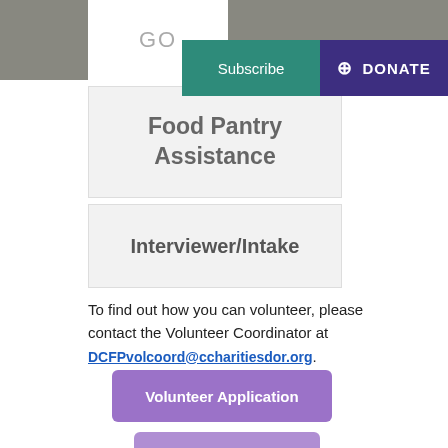GO
Subscribe
+ DONATE
Food Pantry Assistance
Interviewer/Intake
To find out how you can volunteer, please contact the Volunteer Coordinator at DCFPvolcoord@ccharitiesdor.org.
Volunteer Application
Volunteer Login